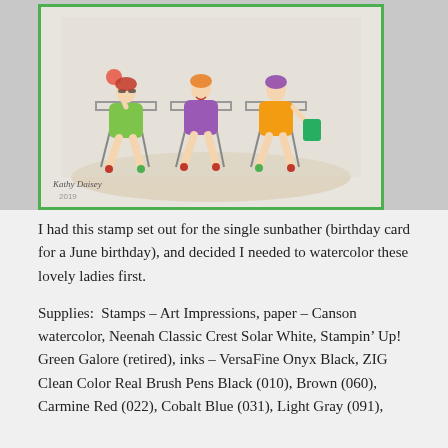[Figure (illustration): A watercolor illustration on a greeting card showing three women sitting on chairs, wearing colorful dresses (green, purple, yellow), holding drinks and sunglasses. The card has a green border. Below the illustration is the year '2019' and the signature 'Kathy Daisey'. The card is propped up against a gray background.]
I had this stamp set out for the single sunbather (birthday card for a June birthday), and decided I needed to watercolor these lovely ladies first.
Supplies:  Stamps – Art Impressions, paper – Canson watercolor, Neenah Classic Crest Solar White, Stampin' Up! Green Galore (retired), inks – VersaFine Onyx Black, ZIG Clean Color Real Brush Pens Black (010), Brown (060), Carmine Red (022), Cobalt Blue (031), Light Gray (091),